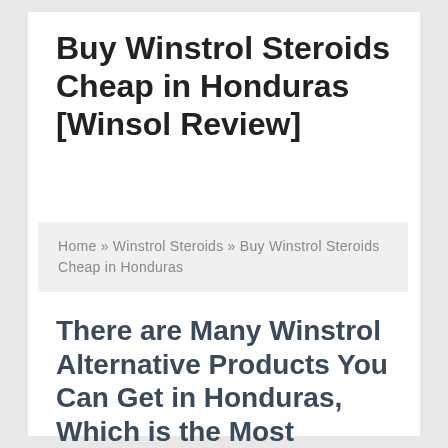Buy Winstrol Steroids Cheap in Honduras [Winsol Review]
Home » Winstrol Steroids » Buy Winstrol Steroids Cheap in Honduras
There are Many Winstrol Alternative Products You Can Get in Honduras, Which is the Most Perfect for You?